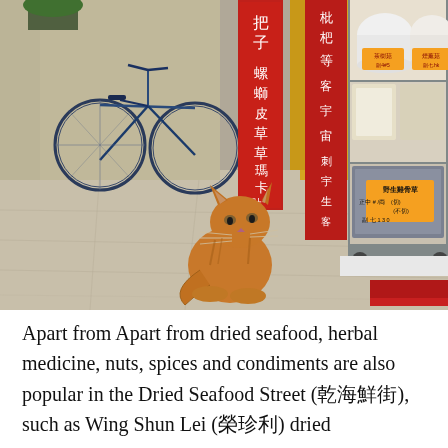[Figure (photo): Street scene in Hong Kong's Dried Seafood Street. An orange tabby cat sits on the pavement in front of a market stall with red Chinese signs and a wheeled shelving unit displaying bins and containers of nuts, spices, and dried goods. A bicycle is visible on the left side.]
Apart from Apart from dried seafood, herbal medicine, nuts, spices and condiments are also popular in the Dried Seafood Street (乾海鮮街), such as Wing Shun Lei (榮珍利) dried